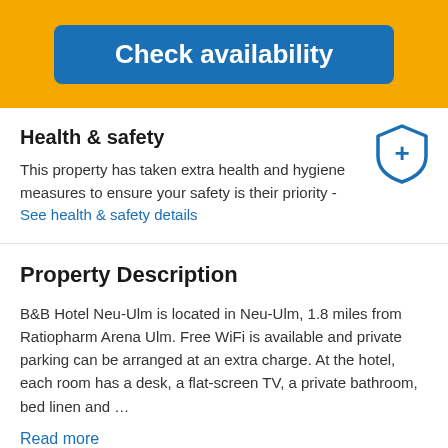[Figure (screenshot): Blue 'Check availability' button on yellow/orange background]
Health & safety
This property has taken extra health and hygiene measures to ensure your safety is their priority - See health & safety details
Property Description
B&B Hotel Neu-Ulm is located in Neu-Ulm, 1.8 miles from Ratiopharm Arena Ulm. Free WiFi is available and private parking can be arranged at an extra charge. At the hotel, each room has a desk, a flat-screen TV, a private bathroom, bed linen and …
Read more
Amenities